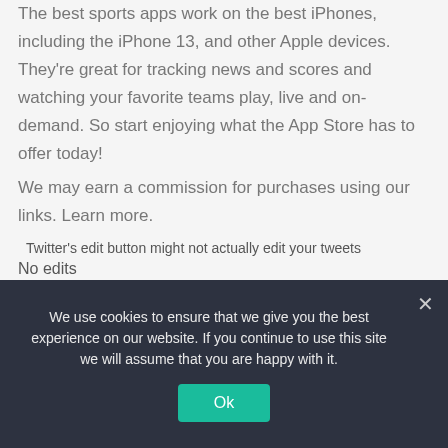The best sports apps work on the best iPhones, including the iPhone 13, and other Apple devices. They're great for tracking news and scores and watching your favorite teams play, live and on-demand. So start enjoying what the App Store has to offer today!
We may earn a commission for purchases using our links. Learn more.
[Figure (illustration): Small thumbnail image for article: Twitter's edit button might not actually edit your tweets]
No edits
Twitter's edit button might not actually edit your tweets
We use cookies to ensure that we give you the best experience on our website. If you continue to use this site we will assume that you are happy with it.